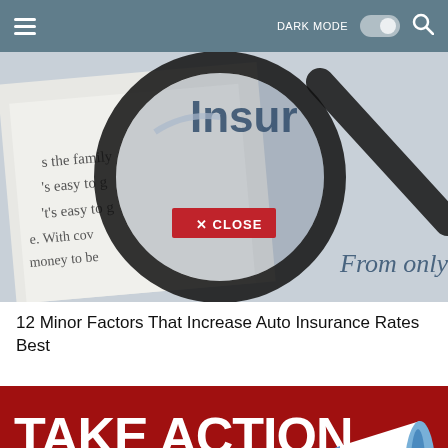DARK MODE [toggle] [search]
[Figure (photo): Close-up photo of insurance document with magnifying glass showing partial text 'Insur...', 'from the family', 'it's easy to g', 'With cov', 'money to be', 'From only'. A red CLOSE button overlaid in the center.]
12 Minor Factors That Increase Auto Insurance Rates Best
[Figure (infographic): Dark red banner with large white bold text reading 'TAKE ACTION TO PROTECT HEALTH CARE' with a megaphone/bullhorn illustration on the right side and a grey scroll-to-top button in the bottom right corner.]